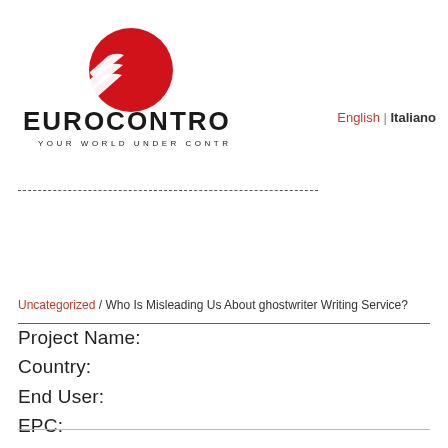[Figure (logo): Eurocontrolli logo: red circle with white speed lines and bold black text EUROCONTROLLI with tagline YOUR WORLD UNDER CONTROL]
English | Italiano
Uncategorized / Who Is Misleading Us About ghostwriter Writing Service?
Project Name:
Country:
End User:
EPC: